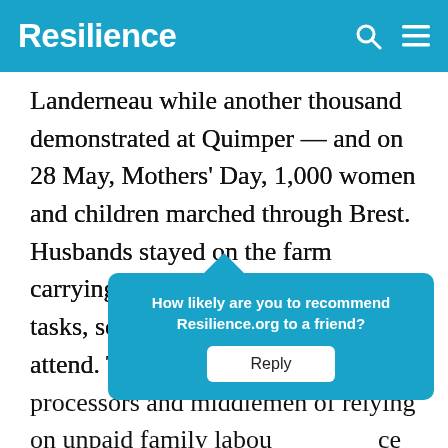Resilience
Landerneau while another thousand demonstrated at Quimper — and on 28 May, Mothers' Day, 1,000 women and children marched through Brest. Husbands stayed on the farm carrying out the traditionally female tasks, so that their wives could attend. The women accused the processors and middlemen of relying on unpaid family labour... ce econo... compe... put it:
How likely are you to recommend Resilience.org to a friend? Reply